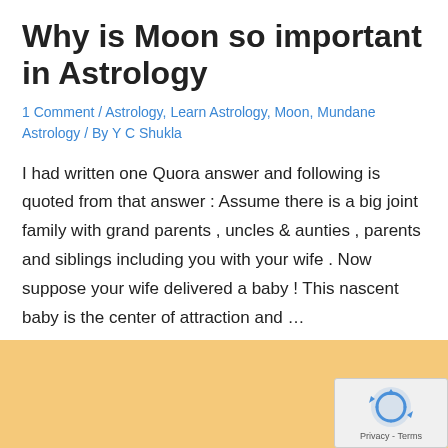Why is Moon so important in Astrology
1 Comment / Astrology, Learn Astrology, Moon, Mundane Astrology / By Y C Shukla
I had written one Quora answer and following is quoted from that answer : Assume there is a big joint family with grand parents , uncles & aunties , parents and siblings including you with your wife . Now suppose your wife delivered a baby ! This nascent baby is the center of attraction and …
Read More »
[Figure (other): reCAPTCHA privacy badge in bottom right corner with recycling arrow logo and 'Privacy - Terms' text]